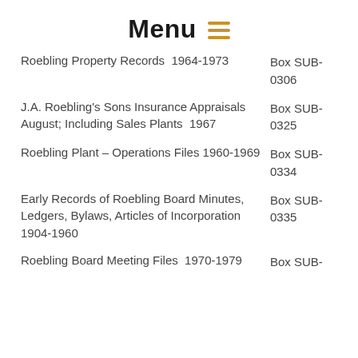Menu
Roebling Property Records  1964-1973  Box SUB-0306
J.A. Roebling's Sons Insurance Appraisals August; Including Sales Plants  1967  Box SUB-0325
Roebling Plant – Operations Files 1960-1969  Box SUB-0334
Early Records of Roebling Board Minutes, Ledgers, Bylaws, Articles of Incorporation  1904-1960  Box SUB-0335
Roebling Board Meeting Files  1970-1979  Box SUB-